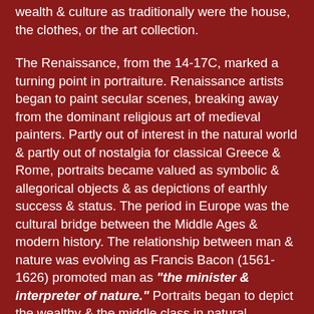wealth & culture as traditionally were the house, the clothes, or the art collection.
The Renaissance, from the 14-17C, marked a turning point in portraiture. Renaissance artists began to paint secular scenes, breaking away from the dominant religious art of medieval painters. Partly out of interest in the natural world & partly out of nostalgia for classical Greece & Rome, portraits became valued as symbolic & allegorical objects & as depictions of earthly success & status. The period in Europe was the cultural bridge between the Middle Ages & modern history. The relationship between man & nature was evolving as Francis Bacon (1561-1626) promoted man as "the minister & interpreter of nature." Portraits began to depict the wealthy & the middle class in natural landscapes & in more formal garden settings, where man was obviously controlling the nature around him.   As time passed, the Renaissance garden & grounds became as much as symbol of the owner's wealth & culture as his house, his clothes, or his art collection.
With the arrival of Anthony Van Dyck (1599–1641) at the court of Charles I in 1632, British portraiture took a decisive...